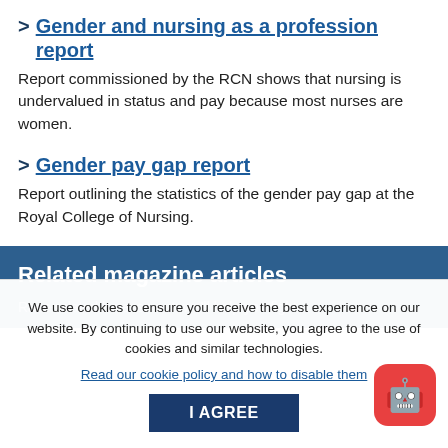> Gender and nursing as a profession report
Report commissioned by the RCN shows that nursing is undervalued in status and pay because most nurses are women.
> Gender pay gap report
Report outlining the statistics of the gender pay gap at the Royal College of Nursing.
Related magazine articles
Race-related harassment: we'll help you fight...
We use cookies to ensure you receive the best experience on our website. By continuing to use our website, you agree to the use of cookies and similar technologies.
Read our cookie policy and how to disable them
I AGREE